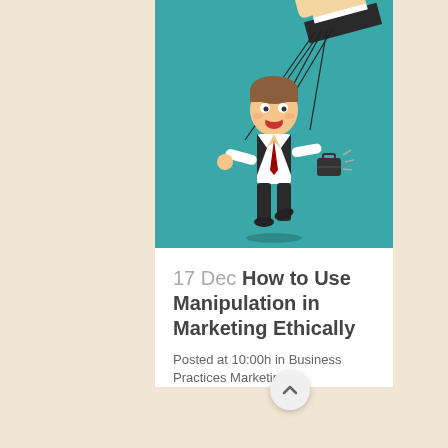[Figure (illustration): Cartoon illustration of a businessman puppet being controlled by a large hand from above via strings, on a teal background. The figure is smiling, wearing a white shirt and red tie, holding a briefcase.]
17 Dec How to Use Manipulation in Marketing Ethically
Posted at 10:00h in Business Practices Marketing